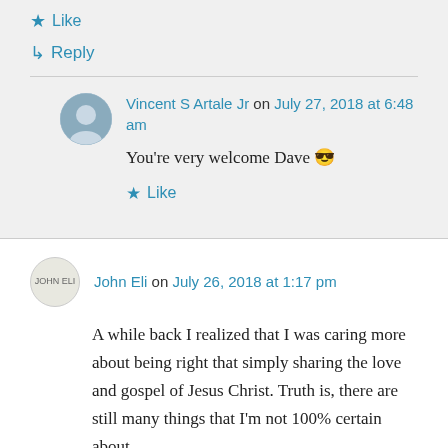★ Like
↳ Reply
Vincent S Artale Jr on July 27, 2018 at 6:48 am
You're very welcome Dave 😎
★ Like
John Eli on July 26, 2018 at 1:17 pm
A while back I realized that I was caring more about being right that simply sharing the love and gospel of Jesus Christ. Truth is, there are still many things that I'm not 100% certain about.